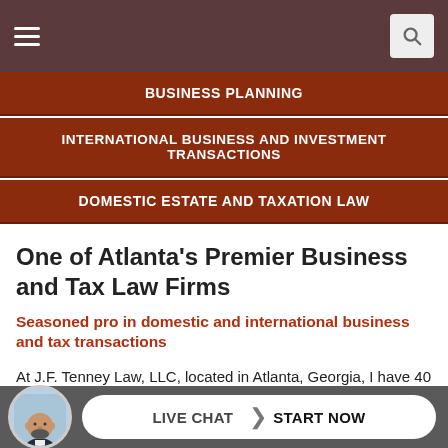Navigation bar with hamburger menu and search icon
BUSINESS PLANNING
INTERNATIONAL BUSINESS AND INVESTMENT TRANSACTIONS
DOMESTIC ESTATE AND TAXATION LAW
One of Atlanta’s Premier Business and Tax Law Firms
Seasoned pro in domestic and international business and tax transactions
At J.F. Tenney Law, LLC, located in Atlanta, Georgia, I have 40 years of experience assisting clients locally and around the world. I help clients in the areas of business planning, international and ... very few
LIVE CHAT ❯ START NOW